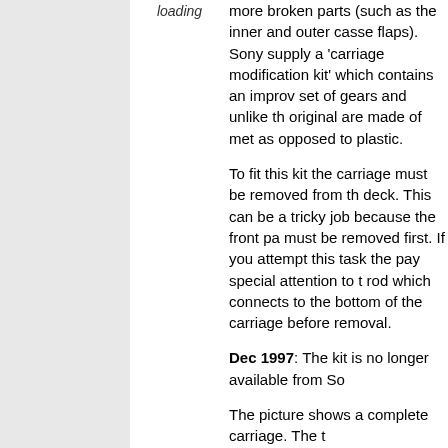loading
more broken parts (such as the inner and outer cassette flaps). Sony supply a 'carriage modification kit' which contains an improved set of gears and unlike the original are made of metal as opposed to plastic.
To fit this kit the carriage must be removed from the deck. This can be a tricky job because the front panel must be removed first. If you attempt this task then pay special attention to the rod which connects to the bottom of the carriage before removal.
Dec 1997: The kit is no longer available from Sony
The picture shows a complete carriage. The t...